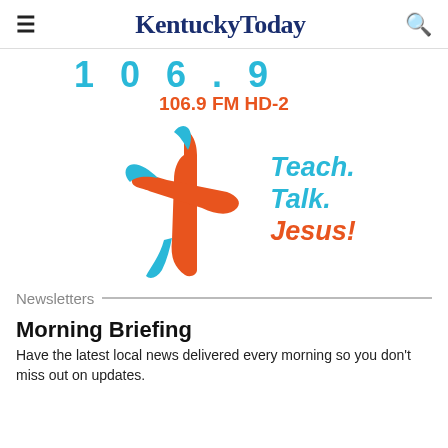≡  KentuckyToday  🔍
[Figure (logo): Radio station advertisement banner showing '106.9 FM HD-2' in orange text with decorative cyan blue stylized letters above]
[Figure (logo): Cross-shaped logo in orange and cyan blue colors with italic text reading 'Teach. Talk. Jesus!' — Teach and Talk in cyan, Jesus! in orange]
Newsletters
Morning Briefing
Have the latest local news delivered every morning so you don't miss out on updates.